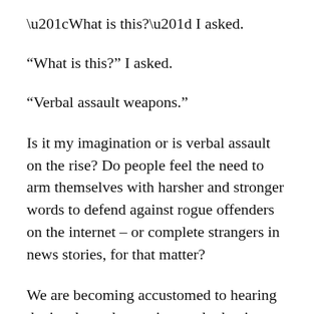“What is this?” I asked.
“Verbal assault weapons.”
Is it my imagination or is verbal assault on the rise? Do people feel the need to arm themselves with harsher and stronger words to defend against rogue offenders on the internet – or complete strangers in news stories, for that matter?
We are becoming accustomed to hearing the insults and nasty innuendo that is politics-as-usual, but this week I am sick at heart at the cruel words aimed at parents who have lost children in freak accidents, friends who have lost friends in acts of violence, and hostages held